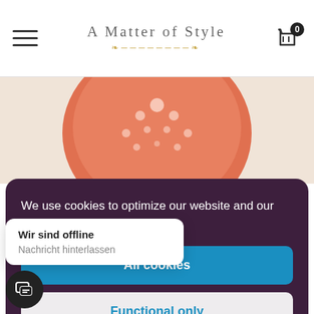A Matter of Style
[Figure (photo): Orange/coral decorative plate with white polka dots on a beige/peach background, partially visible at top of page]
We use cookies to optimize our website and our service.
All cookies
Functional only
View preferences
Wir sind offline
Nachricht hinterlassen